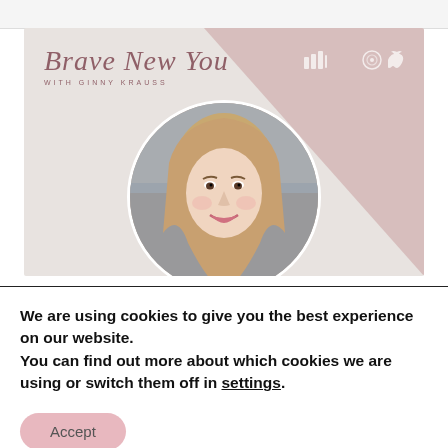[Figure (screenshot): Screenshot of a podcast website header for 'Brave New You with Ginny Krauss', showing a banner with script logo, pink diagonal design element, circular portrait photo of a smiling young woman with long brown hair, and streaming platform icons (Spotify, Apple Podcasts).]
We are using cookies to give you the best experience on our website.
You can find out more about which cookies we are using or switch them off in settings.
Accept